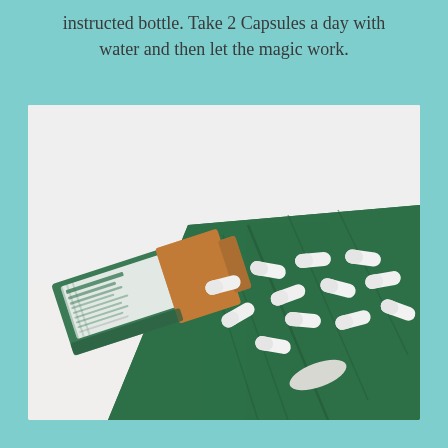instructed bottle. Take 2 Capsules a day with water and then let the magic work.
[Figure (photo): A brown amber supplement bottle labeled BOTANYCL lying on its side on a white surface, with white capsules spilling out onto a large dark green tropical leaf (monstera). Multiple white capsules are scattered across the leaf surface.]